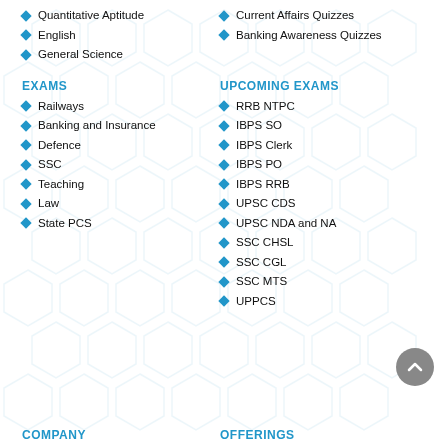Quantitative Aptitude
Current Affairs Quizzes
English
Banking Awareness Quizzes
General Science
EXAMS
UPCOMING EXAMS
Railways
RRB NTPC
Banking and Insurance
IBPS SO
Defence
IBPS Clerk
SSC
IBPS PO
Teaching
IBPS RRB
Law
UPSC CDS
State PCS
UPSC NDA and NA
SSC CHSL
SSC CGL
SSC MTS
UPPCS
COMPANY
OFFERINGS